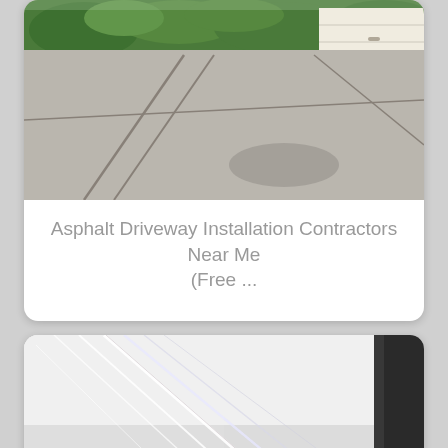[Figure (photo): Concrete driveway leading to a white garage door, with green shrubbery in the background. Light gray concrete surface with expansion joint lines visible.]
Asphalt Driveway Installation Contractors Near Me (Free ...
[Figure (photo): Close-up photo of cracked or shattered glass with visible fracture lines on a light background, with a dark frame element visible on the right edge.]